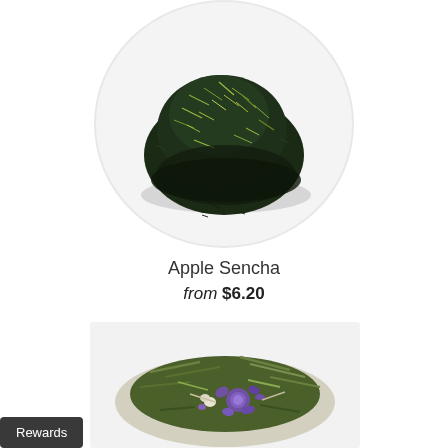[Figure (photo): A pile of dark green sencha loose leaf tea on a white circular plate/surface, photographed from above.]
Apple Sencha
from $6.20
[Figure (photo): A pile of loose leaf tea with purple flower petals and green tea leaves mixed together, photographed from above.]
Rewards